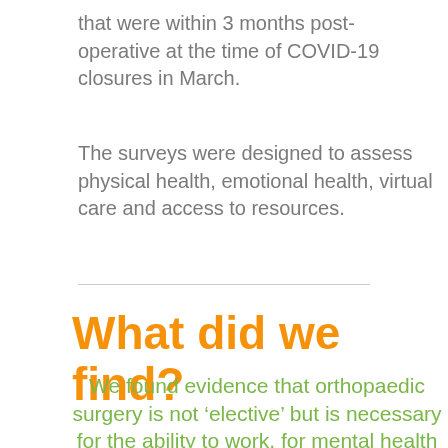that were within 3 months post-operative at the time of COVID-19 closures in March.
The surveys were designed to assess physical health, emotional health, virtual care and access to resources.
What did we find?
We found evidence that orthopaedic surgery is not ‘elective’ but is necessary for the ability to work, for mental health and for physical